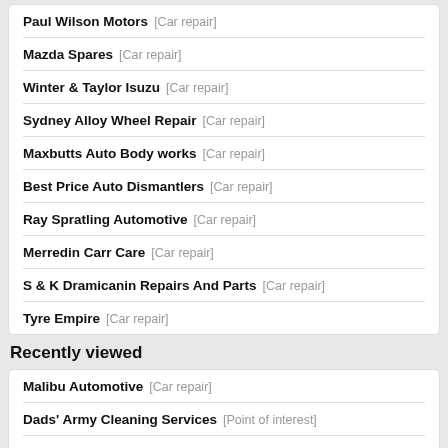Paul Wilson Motors [Car repair]
Mazda Spares [Car repair]
Winter & Taylor Isuzu [Car repair]
Sydney Alloy Wheel Repair [Car repair]
Maxbutts Auto Body works [Car repair]
Best Price Auto Dismantlers [Car repair]
Ray Spratling Automotive [Car repair]
Merredin Carr Care [Car repair]
S & K Dramicanin Repairs And Parts [Car repair]
Tyre Empire [Car repair]
Recently viewed
Malibu Automotive [Car repair]
Dads' Army Cleaning Services [Point of interest]
Top Thai Restaurant [Restaurant]
Beauty Elements - Beauty Products Online [Beauty salon]